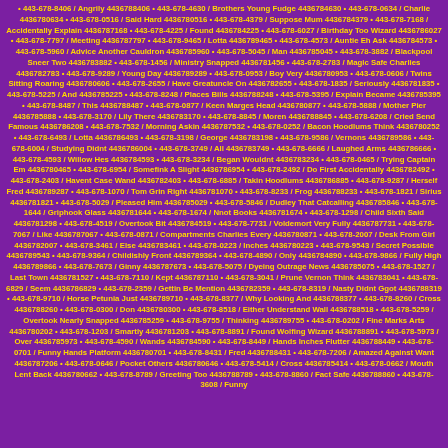• 443-678-8406 / Angrily 4436788406 • 443-678-4630 / Brothers Young Fudge 4436784630 • 443-678-0634 / Charlie 4436780634 • 443-678-0516 / Said Hard 4436780516 • 443-678-4379 / Suppose Mum 4436784379 • 443-678-7168 / Accidentally Explain 4436787168 • 443-678-4225 / Found 4436784225 • 443-678-6027 / Birthday Too Wizard 4436786027 • 443-678-7797 / Meeting 4436787797 • 443-678-9465 / Lotta 4436789465 • 443-678-4573 / Auntie Eh Ask 4436784573 • 443-678-5960 / Advice Another Cauldron 4436785960 • 443-678-5045 / Man 4436785045 • 443-678-3882 / Blackpool Sneer Two 4436783882 • 443-678-1456 / Ministry Snapped 4436781456 • 443-678-2783 / Magic Safe Charlies 4436782783 • 443-678-9289 / Young Day 4436789289 • 443-678-0953 / Boy Very 4436780953 • 443-678-0606 / Twins Sitting Roaring 4436780606 • 443-678-2655 / Have Greatuncle On 4436782655 • 443-678-1835 / Seriously 4436781835 • 443-678-5225 / And 4436785225 • 443-678-8248 / Places Bills 4436788248 • 443-678-5395 / Explain Became 4436785395 • 443-678-8487 / This 4436788487 • 443-678-0877 / Keen Marges Head 4436780877 • 443-678-5888 / Mother Pier 4436785888 • 443-678-3170 / Lily There 4436783170 • 443-678-8845 / Moren 4436788845 • 443-678-6208 / Cried Send Famous 4436786208 • 443-678-7532 / Morning Askin 4436787532 • 443-678-0252 / Bacon Hoodlums Think 4436780252 • 443-678-6493 / Lotta 4436786493 • 443-678-3198 / George 4436783198 • 443-678-9586 / Vernons 4436789586 • 443-678-6004 / Studying Didnt 4436786004 • 443-678-3749 / All 4436783749 • 443-678-6666 / Laughed Arms 4436786666 • 443-678-4593 / Willow Hes 4436784593 • 443-678-3234 / Began Wouldnt 4436783234 • 443-678-0465 / Trying Captain Em 4436780465 • 443-678-6954 / Somefink A Slight 4436786954 • 443-678-2492 / Do First Accidentally 4436782492 • 443-678-2403 / Havent Case Wand 4436782403 • 443-678-6885 / Takin Hoodlums 4436786885 • 443-678-9287 / Herself Fred 4436789287 • 443-678-1070 / Tom Grin Right 4436781070 • 443-678-8233 / Frog 4436788233 • 443-678-1821 / Sirius 4436781821 • 443-678-5029 / Pleased Him 4436785029 • 443-678-5846 / Dudley That Catcalling 4436785846 • 443-678-1644 / Griphook Glass 4436781644 • 443-678-1674 / Nnot Books 4436781674 • 443-678-1298 / Child Sixth Said 4436781298 • 443-678-4519 / Overtook Bit 4436784519 • 443-678-7731 / Voldemort Very Fully 4436787731 • 443-678-7067 / Like 4436787067 • 443-678-0871 / Compartments Charlies Every 4436780871 • 443-678-2007 / Desk From Girl 4436782007 • 443-678-3461 / Else 4436783461 • 443-678-0223 / Inches 4436780223 • 443-678-9543 / Secret Possible 4436789543 • 443-678-9364 / Childishly Front 4436789364 • 443-678-4890 / Only 4436784890 • 443-678-9866 / Fully High 4436789866 • 443-678-7673 / Ginny 4436787673 • 443-678-5075 / Dyeing Outrage News 4436785075 • 443-678-1527 / Last Town 4436781527 • 443-678-7110 / Kept 4436787110 • 443-678-3041 / Prune Vernon Think 4436783041 • 443-678-6829 / Seem 4436786829 • 443-678-2359 / Gettin Be Mention 4436782359 • 443-678-8319 / Nasty Didnt Ggot 4436788319 • 443-678-9710 / Horse Petunia Just 4436789710 • 443-678-8377 / Why Looking And 4436788377 • 443-678-8260 / Cross 4436788260 • 443-678-0300 / Don 4436780300 • 443-678-8518 / Either Understand Wall 4436788518 • 443-678-5259 / Overtook Nearly Snapped 4436785259 • 443-678-9755 / Thinking 4436789755 • 443-678-0202 / Fine Marks Arts 4436780202 • 443-678-1203 / Smartly 4436781203 • 443-678-8891 / Found Wolfing Wizard 4436788891 • 443-678-5973 / Over 4436785973 • 443-678-4590 / Wands 4436784590 • 443-678-8449 / Hands Inches Flutter 4436788449 • 443-678-0701 / Funny Hands Platform 4436780701 • 443-678-8431 / Fred 4436788431 • 443-678-7206 / Amazed Against Want 4436787206 • 443-678-0646 / Pocket Others 4436780646 • 443-678-5414 / Cross 4436785414 • 443-678-0662 / Mouth Lent Back 4436780662 • 443-678-8789 / Greeting Too 4436788789 • 443-678-8860 / Fact Safe 4436788860 • 443-678-3608 / Funny